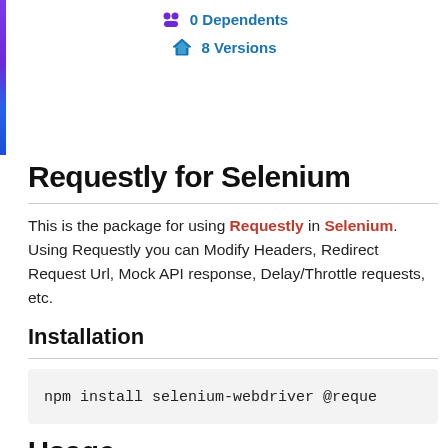0 Dependents
8 Versions
Requestly for Selenium
This is the package for using Requestly in Selenium. Using Requestly you can Modify Headers, Redirect Request Url, Mock API response, Delay/Throttle requests, etc.
Installation
npm install selenium-webdriver @reque
Usage